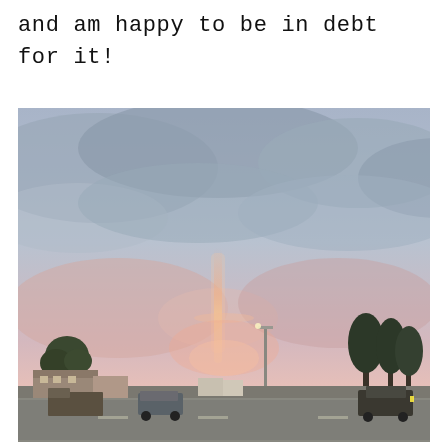and am happy to be in debt for it!
[Figure (photo): Outdoor photograph taken at dusk showing a dramatic sky with grey and pink clouds. A faint vertical rainbow or light pillar is visible near the center of the image. The foreground shows a road, trees, parked vehicles, and commercial buildings in what appears to be a small town or suburban area.]